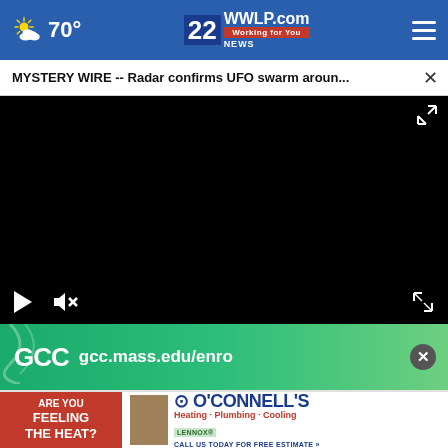[Figure (screenshot): WWLP 22News website header with weather icon showing partly cloudy, temperature 70°, WWLP.com logo with 'Working for You' tagline, and hamburger menu icon on blue background]
MYSTERY WIRE -- Radar confirms UFO swarm aroun...
[Figure (screenshot): Black video player area with play button, mute icon, and expand/fullscreen icon]
[Figure (screenshot): GCC advertisement banner: gcc.mass.edu/enro with close button on green background]
[Figure (screenshot): O'Connell's Heating Plumbing Cooling advertisement: 'Are you feeling the heat?' with Lennox logo, call us today for free estimate]